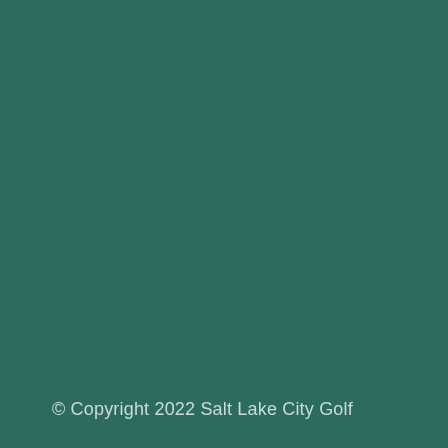© Copyright 2022 Salt Lake City Golf